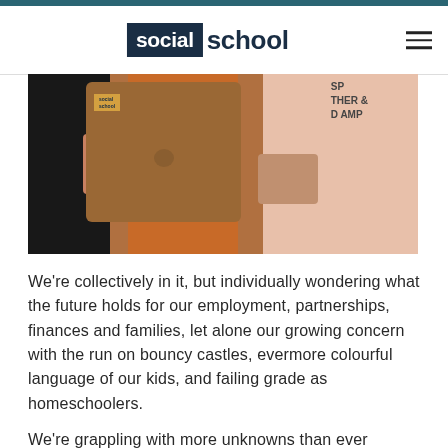social school
[Figure (photo): Two people looking at a MacBook laptop with a 'social school' sticker. One person wears a black sleeve, another an orange shirt, and a third in a pink cardigan. Partial text 'SP' visible in background.]
We're collectively in it, but individually wondering what the future holds for our employment, partnerships, finances and families, let alone our growing concern with the run on bouncy castles, evermore colourful language of our kids, and failing grade as homeschoolers.
We're grappling with more unknowns than ever